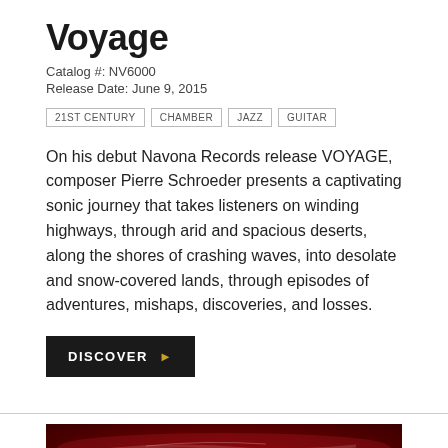Voyage
Catalog #: NV6000
Release Date: June 9, 2015
21ST CENTURY
CHAMBER
JAZZ
GUITAR
On his debut Navona Records release VOYAGE, composer Pierre Schroeder presents a captivating sonic journey that takes listeners on winding highways, through arid and spacious deserts, along the shores of crashing waves, into desolate and snow-covered lands, through episodes of adventures, mishaps, discoveries, and losses.
DISCOVER ▶
[Figure (photo): Dark red/crimson textured album art showing abstract wave or landscape forms with white/light streaks against deep red background]